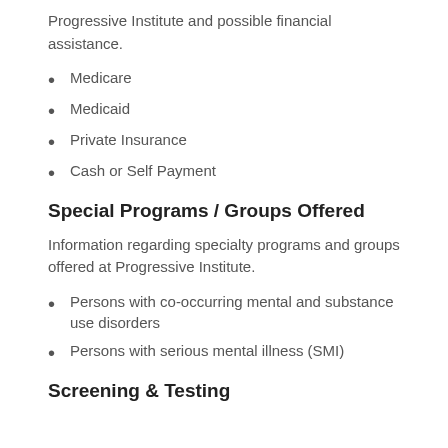Progressive Institute and possible financial assistance.
Medicare
Medicaid
Private Insurance
Cash or Self Payment
Special Programs / Groups Offered
Information regarding specialty programs and groups offered at Progressive Institute.
Persons with co-occurring mental and substance use disorders
Persons with serious mental illness (SMI)
Screening & Testing